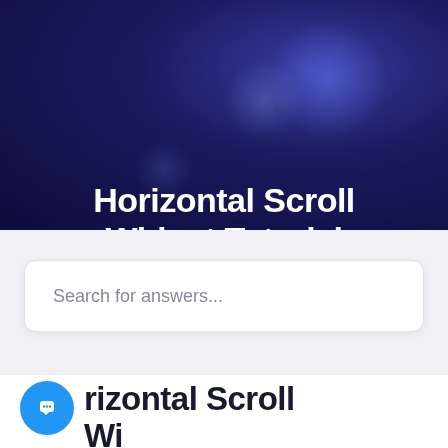[Figure (illustration): Dark navy/indigo hero banner background with glowing light spots and bokeh effects]
Horizontal Scroll Widget Tutorial
Search for answers...
[Figure (logo): Blue circular chat/message icon button]
Horizontal Scroll Widget Tutorial